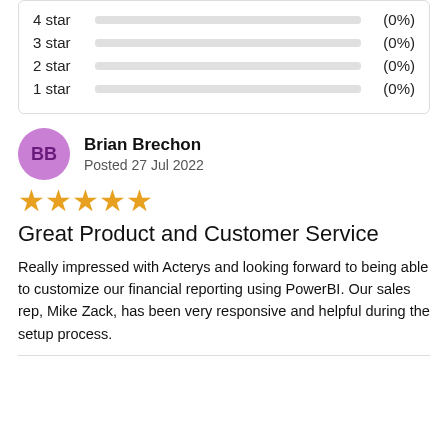[Figure (other): Star rating breakdown showing 4 star (0%), 3 star (0%), 2 star (0%), 1 star (0%) with horizontal bar indicators]
Brian Brechon
Posted 27 Jul 2022
[Figure (other): Five star rating icons (filled orange stars)]
Great Product and Customer Service
Really impressed with Acterys and looking forward to being able to customize our financial reporting using PowerBI.  Our sales rep, Mike Zack, has been very responsive and helpful during the setup process.